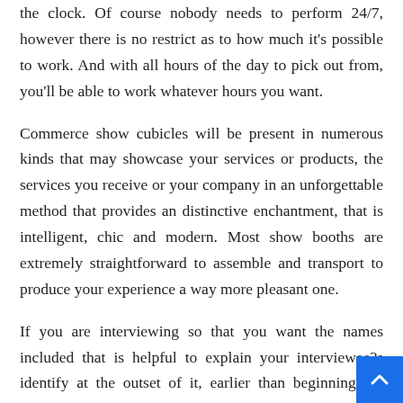the clock. Of course nobody needs to perform 24/7, however there is no restrict as to how much it's possible to work. And with all hours of the day to pick out from, you'll be able to work whatever hours you want.
Commerce show cubicles will be present in numerous kinds that may showcase your services or products, the services you receive or your company in an unforgettable method that provides an distinctive enchantment, that is intelligent, chic and modern. Most show booths are extremely straightforward to assemble and transport to produce your experience a way more pleasant one.
If you are interviewing so that you want the names included that is helpful to explain your interviewee?s identify at the outset of it, earlier than beginning the interview, and communicate out any informatio